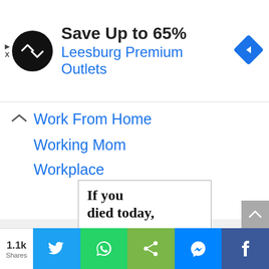[Figure (screenshot): Advertisement banner: circular black logo with double arrow, text 'Save Up to 65% Leesburg Premium Outlets', blue navigation diamond icon on right]
Work From Home
Working Mom
Workplace
[Figure (illustration): Image card with text 'If you died today,' above a scene showing person with blue hat and gravestone]
1.1k
Shares